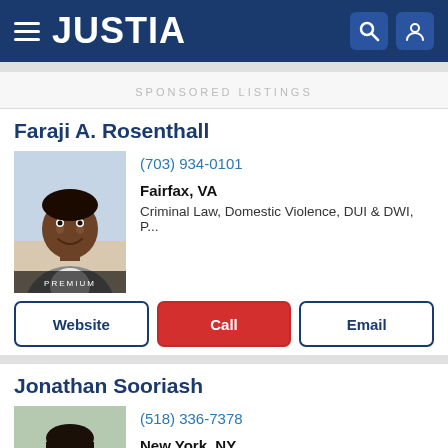JUSTIA
SPONSORED LISTINGS
Faraji A. Rosenthall
[Figure (photo): Professional headshot of attorney Faraji A. Rosenthall with PREMIUM badge]
(703) 934-0101
Fairfax, VA
Criminal Law, Domestic Violence, DUI & DWI, P...
Website | Call | Email
Jonathan Sooriash
[Figure (photo): Professional headshot of attorney Jonathan Sooriash]
(518) 336-7378
New York, NY